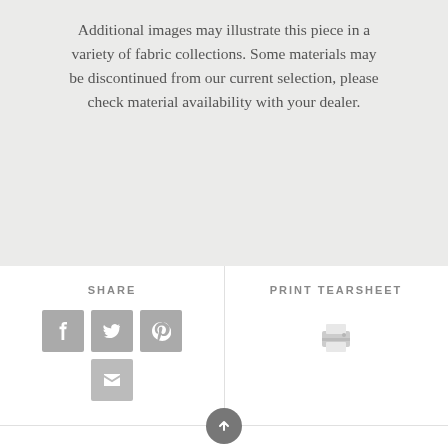Additional images may illustrate this piece in a variety of fabric collections. Some materials may be discontinued from our current selection, please check material availability with your dealer.
SHARE
[Figure (infographic): Four social share icon buttons: Facebook (f), Twitter (bird), Pinterest (P), Email (envelope), arranged in a 3+1 grid layout]
PRINT TEARSHEET
[Figure (infographic): Printer icon for print tearsheet action]
[Figure (infographic): Back to top circular button with upward arrow]